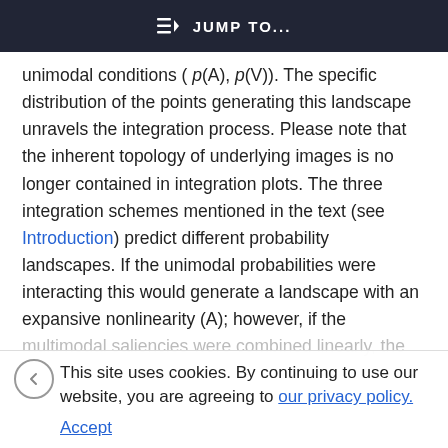JUMP TO...
unimodal conditions ( p(A), p(V)). The specific distribution of the points generating this landscape unravels the integration process. Please note that the inherent topology of underlying images is no longer contained in integration plots. The three integration schemes mentioned in the text (see Introduction) predict different probability landscapes. If the unimodal probabilities were interacting this would generate a landscape with an expansive nonlinearity (A); however, if the
multimodal saliencies were combined linearly, the
This site uses cookies. By continuing to use our website, you are agreeing to our privacy policy. Accept